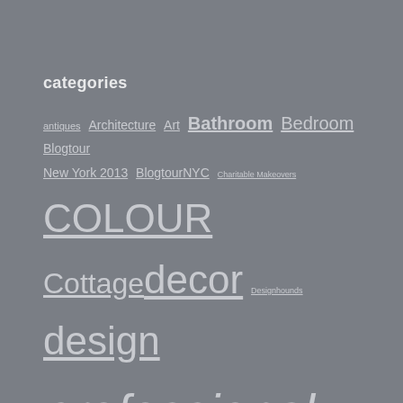categories
antiques Architecture Art Bathroom Bedroom Blogtour New York 2013 BlogtourNYC Charitable Makeovers COLOUR Cottage decor Designhounds design professional Dining Dining room DIY drapery treatments EmptyNesters Entry Events Exterior Fabric family room Floral Furniture furniture makeover Haven Holidays Homepage Portfolio inspiration Kitchen lighting Living Room makeover media natural nature One Room Challenge Projects renovation Seasonal Decorating The TBBs Travel Victoria+Albert vintage